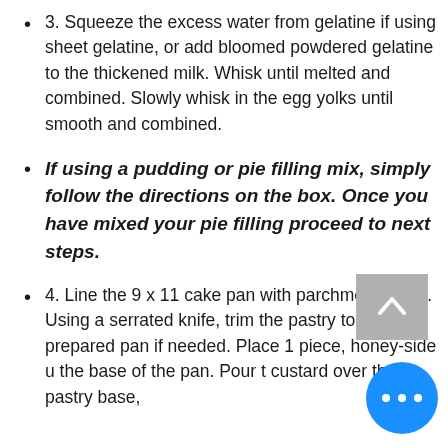3. Squeeze the excess water from gelatine if using sheet gelatine, or add bloomed powdered gelatine to the thickened milk. Whisk until melted and combined. Slowly whisk in the egg yolks until smooth and combined.
If using a pudding or pie filling mix, simply follow the directions on the box. Once you have mixed your pie filling proceed to next steps.
4. Line the 9 x 11 cake pan with parchment paper. Using a serrated knife, trim the pastry to fit the prepared pan if needed. Place 1 piece, honey-side u... the base of the pan. Pour t... custard over the pastry base,